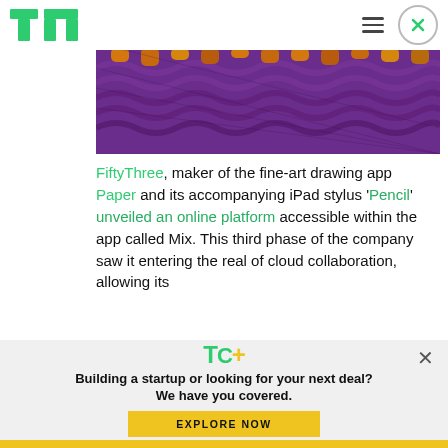TechCrunch header with TC logo and navigation
[Figure (photo): Purple textured knitted fabric with orange/yellow fingers visible at the top edge]
FiftyThree, maker of the fine-art drawing app Paper and its accompanying iPad stylus 'Pencil' unveiled an online platform accessible within the app called Mix. This third phase of the company saw it entering the real of cloud collaboration, allowing its
[Figure (infographic): TC+ subscription modal overlay with TC+ logo in green, headline 'Building a startup or looking for your next deal? We have you covered.' and yellow EXPLORE NOW button]
Yellow bar at bottom of page